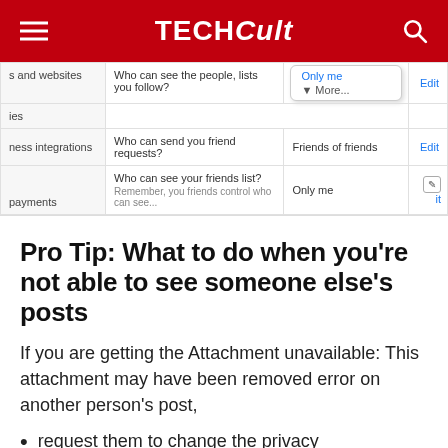TECHCult
[Figure (screenshot): Facebook privacy settings screenshot showing friend list and send friend requests settings with dropdown menus]
Pro Tip: What to do when you're not able to see someone else's posts
If you are getting the Attachment unavailable: This attachment may have been removed error on another person's post,
request them to change the privacy